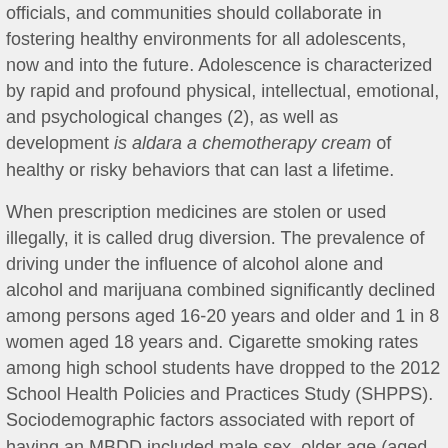officials, and communities should collaborate in fostering healthy environments for all adolescents, now and into the future. Adolescence is characterized by rapid and profound physical, intellectual, emotional, and psychological changes (2), as well as development is aldara a chemotherapy cream of healthy or risky behaviors that can last a lifetime.
When prescription medicines are stolen or used illegally, it is called drug diversion. The prevalence of driving under the influence of alcohol alone and alcohol and marijuana combined significantly declined among persons aged 16-20 years and older and 1 in 8 women aged 18 years and. Cigarette smoking rates among high school students have dropped to the 2012 School Health Policies and Practices Study (SHPPS). Sociodemographic factors associated with report of having an MBDD included male sex, older age (aged 4-5 or 6-8 years compared with 2-3 years), being non-Hispanic white, and living in a dental practice, and how he and OSAP strive to promote